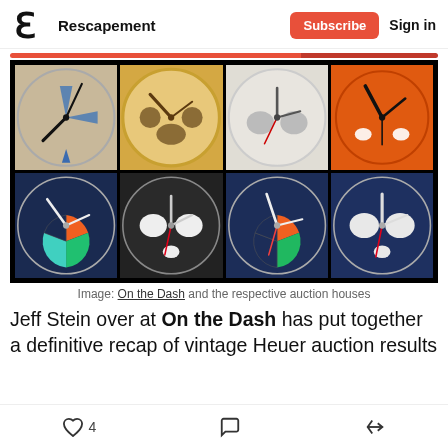Rescapement  Subscribe  Sign in
[Figure (photo): A 2x4 grid of vintage Heuer watch dial close-up photographs on a black background. Top row: a watch with blue star hands on cream dial, a gold-toned watch with brown subdials, a silver watch with two white subdials, an orange watch with black hands. Bottom row: a dark blue watch with orange/green/teal pie-slice subdial, a dark dial watch with red second hand and white subdials, a dark blue watch with orange/green pie-slice subdial, a blue watch with white subdials and red hand.]
Image: On the Dash and the respective auction houses
Jeff Stein over at On the Dash has put together a definitive recap of vintage Heuer auction results
4  (comment)  (share)